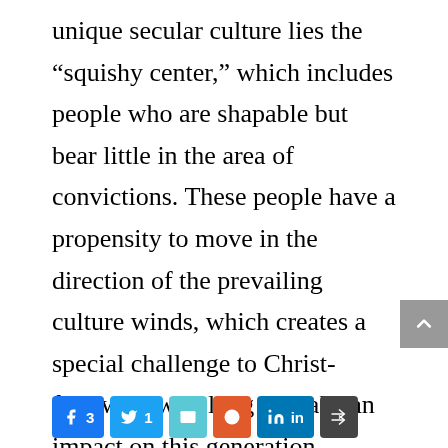unique secular culture lies the “squishy center,” which includes people who are shapable but bear little in the area of convictions. These people have a propensity to move in the direction of the prevailing culture winds, which creates a special challenge to Christ-followers who long to make an impact on this generation.
[Figure (other): Social share buttons: Facebook (3), Twitter (1), Email, Reddit, LinkedIn, More]